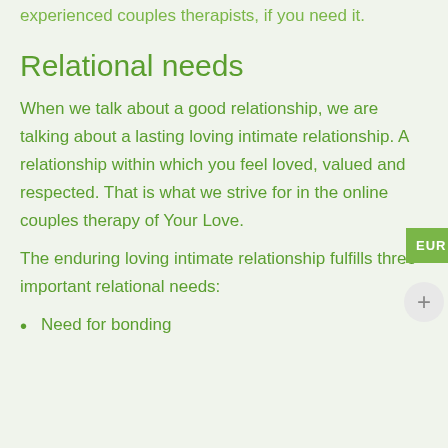experienced couples therapists, if you need it.
Relational needs
When we talk about a good relationship, we are talking about a lasting loving intimate relationship. A relationship within which you feel loved, valued and respected. That is what we strive for in the online couples therapy of Your Love.
The enduring loving intimate relationship fulfills three important relational needs:
Need for bonding